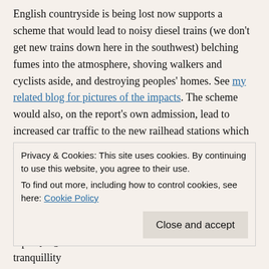English countryside is being lost now supports a scheme that would lead to noisy diesel trains (we don't get new trains down here in the southwest) belching fumes into the atmosphere, shoving walkers and cyclists aside, and destroying peoples' homes. See my related blog for pictures of the impacts. The scheme would also, on the report's own admission, lead to increased car traffic to the new railhead stations which – particularly at Okehampton – would involve the development of park and ride facilities, necessarily on greenfield.
There may indeed be a case for rebuilding a railway between Tavistock and Okehampton. The CPRE's report does not
Privacy & Cookies: This site uses cookies. By continuing to use this website, you agree to their use. To find out more, including how to control cookies, see here: Cookie Policy
destroying a much-valued and accessible area of tranquillity